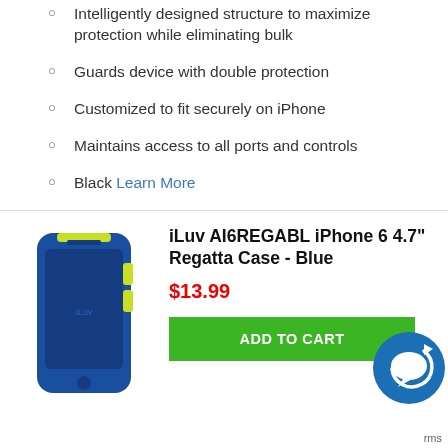Intelligently designed structure to maximize protection while eliminating bulk
Guards device with double protection
Customized to fit securely on iPhone
Maintains access to all ports and controls
Black Learn More
[Figure (photo): iLuv Regatta Case for iPhone 6 4.7 inch in blue color with lime green accents]
iLuv AI6REGABL iPhone 6 4.7" Regatta Case - Blue
$13.99
ADD TO CART